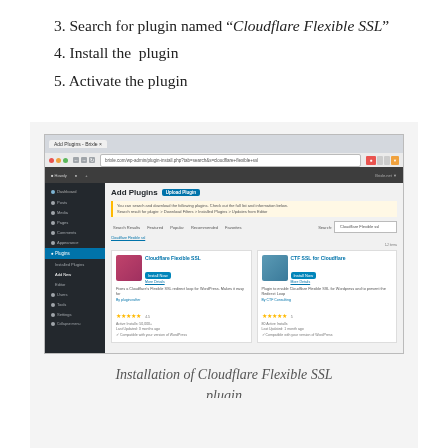3. Search for plugin named “Cloudflare Flexible SSL”
4. Install the plugin
5. Activate the plugin
[Figure (screenshot): WordPress Add Plugins admin page showing Cloudflare Flexible SSL plugin search results]
Installation of Cloudflare Flexible SSL plugin